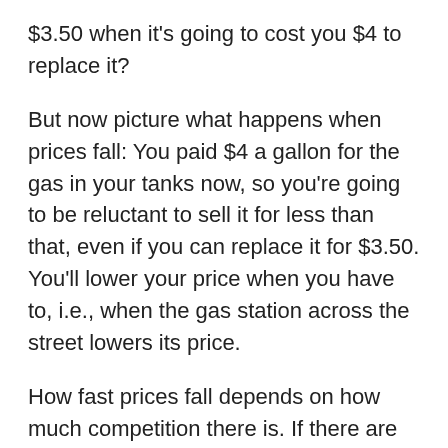$3.50 when it's going to cost you $4 to replace it?
But now picture what happens when prices fall: You paid $4 a gallon for the gas in your tanks now, so you're going to be reluctant to sell it for less than that, even if you can replace it for $3.50. You'll lower your price when you have to, i.e., when the gas station across the street lowers its price.
How fast prices fall depends on how much competition there is. If there are bottlenecks in the market — say, a small number of refineries producing gas for a large region — the businesses that control that bottleneck are in a position to insist on getting at least a just price. And they will. You would too.
The conclusion I draw from all this is that no one in the